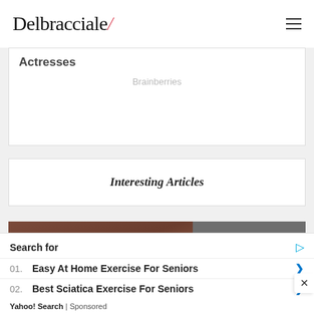Delbracciale
Actresses
Brainberries
Interesting Articles
[Figure (photo): Article thumbnail image showing a colonoscopy-related photo split with a brown/reddish left section and grey right section]
What Things Are Found During A Colonoscopy?
August 20 2022
Search for
01. Easy At Home Exercise For Seniors
02. Best Sciatica Exercise For Seniors
Yahoo! Search | Sponsored